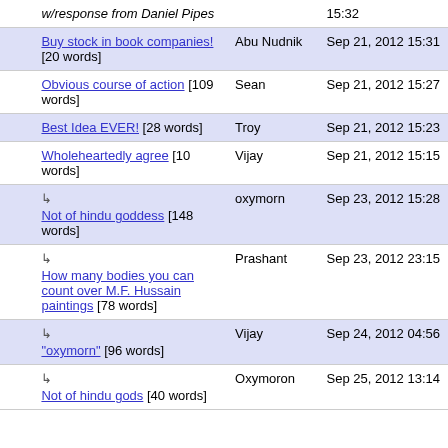|  | Title | Author | Date |
| --- | --- | --- | --- |
|  | w/response from Daniel Pipes |  | 15:32 |
|  | Buy stock in book companies! [20 words] | Abu Nudnik | Sep 21, 2012 15:31 |
|  | Obvious course of action [109 words] | Sean | Sep 21, 2012 15:27 |
|  | Best Idea EVER! [28 words] | Troy | Sep 21, 2012 15:23 |
|  | Wholeheartedly agree [10 words] | Vijay | Sep 21, 2012 15:15 |
| ↳ | Not of hindu goddess [148 words] | oxymorn | Sep 23, 2012 15:28 |
| ↳ | How many bodies you can count over M.F. Hussain paintings [78 words] | Prashant | Sep 23, 2012 23:15 |
| ↳ | "oxymorn" [96 words] | Vijay | Sep 24, 2012 04:56 |
| ↳ | Not of hindu gods [40 words] | Oxymoron | Sep 25, 2012 13:14 |